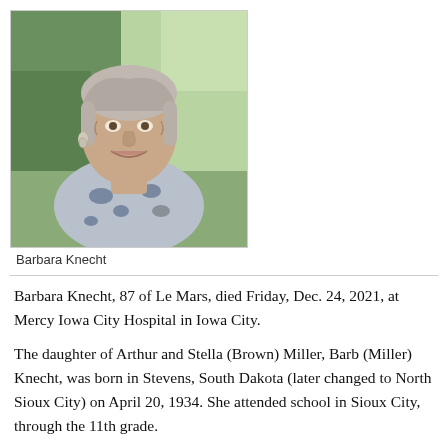[Figure (photo): Portrait photo of Barbara Knecht, an elderly woman smiling, wearing a patterned blouse, outdoors with green foliage background.]
Barbara Knecht
Barbara Knecht, 87 of Le Mars, died Friday, Dec. 24, 2021, at Mercy Iowa City Hospital in Iowa City.
The daughter of Arthur and Stella (Brown) Miller, Barb (Miller) Knecht, was born in Stevens, South Dakota (later changed to North Sioux City) on April 20, 1934. She attended school in Sioux City, through the 11th grade.
She met Arnold “Bud” Knecht in South Sioux City at a skating rink. They were married on May 29, 1951 and started farming in Union County. Barb was a stay-at-home mom who helped Bud on the farm. They enjoyed square dancing and golfing.